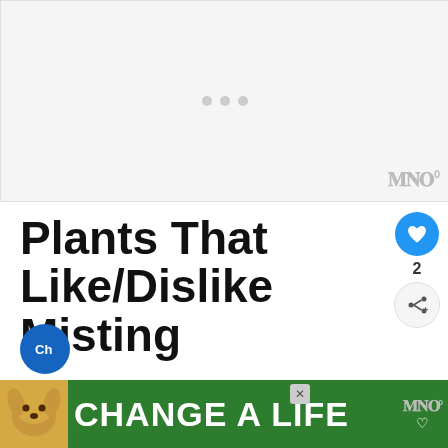[Figure (other): Advertisement placeholder with three gray dots and watermark logo]
Plants That Like/Dislike Misting
Not all plants are made the same. Some may benefit from a boost in humidity, while others require drier air to stay healthy.
[Figure (other): WHAT'S NEXT banner: 8 Best Polka Dot Plants f... with thumbnail]
[Figure (other): Bottom advertisement banner: CHANGE A LIFE with dog image on green background]